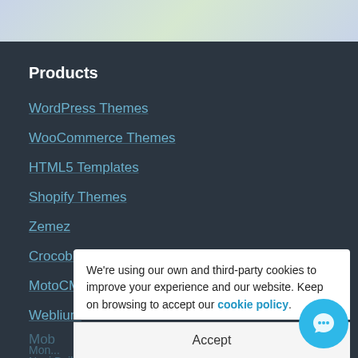Products
WordPress Themes
WooCommerce Themes
HTML5 Templates
Shopify Themes
Zemez
Crocoblock
MotoCMS
Weblium
Mob...
Mon...
Novi Builder
Web Design Library
We're using our own and third-party cookies to improve your experience and our website. Keep on browsing to accept our cookie policy.
Accept